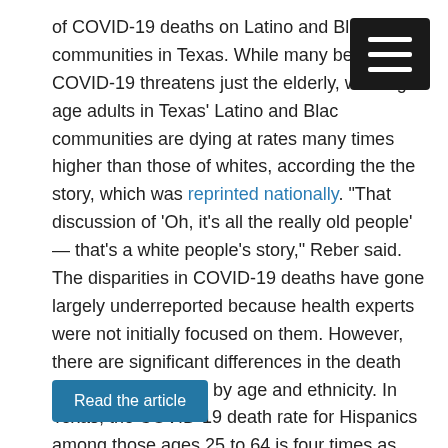of COVID-19 deaths on Latino and Black communities in Texas. While many believe that COVID-19 threatens just the elderly, working-age adults in Texas' Latino and Black communities are dying at rates many times higher than those of whites, according the the story, which was reprinted nationally. "That discussion of 'Oh, it's all the really old people' — that's a white people's story," Reber said. The disparities in COVID-19 deaths have gone largely underreported because health experts were not initially focused on them. However, there are significant differences in the death toll when separated by age and ethnicity. In Texas, the COVID-19 death rate for Hispanics among those ages 25 to 64 is four times as high as that of non-Hispanic whites. Furthermore, Blacks in that age group are dying at more than twice the rate of white people.
Read the article